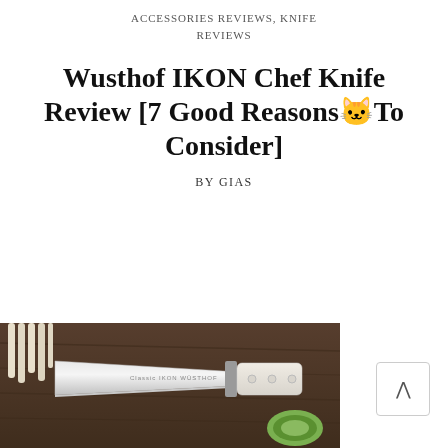ACCESSORIES REVIEWS, KNIFE REVIEWS
Wusthof IKON Chef Knife Review [7 Good Reasons🐱To Consider]
BY GIAS
[Figure (photo): Photo of a Wusthof IKON chef knife with white handle lying on a dark wooden cutting board, with asparagus and a sliced zucchini in the background.]